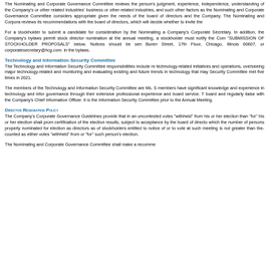The Nominating and Corporate Governance Committee reviews the person's judgment, experience, independence, understanding of the Company's or other related industries' business or other related industries, and such other factors as the Nominating and Corporate Governance Committee considers appropriate given the needs of the board of directors and the Company. The Nominating and Corporate Governance Committee then discusses its recommendations with the board of directors, which will decide whether to invite the person to be a candidate.
For a stockholder to submit a candidate for consideration by the Nominating and Corporate Governance Committee, the stockholder must submit the recommendation in writing to the Company's Corporate Secretary. In addition, the Company's bylaws permit stockholders to nominate directors for election at an annual meeting of stockholders. To nominate a director nomination at the annual meeting, a stockholder must notify the Company's Corporate Secretary as described below under "SUBMISSION OF STOCKHOLDER PROPOSALS" below. Notices should be sent to Healtheon Capital Group, Attn: Corporate Secretary, 123 N. Wacker Drive or 540 W. Buren Street, 17th Floor, Chicago, Illinois 60607, or corporatesecretary@hcg.com. Additional information about the requirements is found in the bylaws.
Technology and Information Security Committee
The Technology and Information Security Committee responsibilities include reviewing, overseeing, and monitoring cybersecurity, data security, and technology-related initiatives and operations, overseeing major technology-related investments and acquisitions, and overseeing technology-related risks and monitoring and evaluating existing and future trends in technology that may affect the Company. The Technology and Information Security Committee met five times in 2021.
The members of the Technology and Information Security Committee are Ms. S and others. The members have significant knowledge and experience in technology and information security, as well as corporate governance through their extensive professional experience and board service. The Committee members work closely with the board and regularly liaise with the Company's Chief Information Officer. It is the intention to reconstitute the Technology and Information Security Committee prior to the Annual Meeting.
Director Resignation Policy
The Company's Corporate Governance Guidelines provide that in an uncontested election of directors, any director nominee who receives more votes "withheld" from his or her election than "for" his or her election shall promptly tender his or her resignation following certification of the election results, subject to acceptance by the board of directors. An "uncontested election" means an election in which the number of persons properly nominated for election as directors as of the record date for the meeting of stockholders entitled to notice of or to vote at such meeting is not greater than the number of directors to be elected. Abstentions will not be counted as either votes "withheld" from or "for" such person's election.
The Nominating and Corporate Governance Committee shall make a recommendation to the board of directors as to whether to accept or reject the resignation.